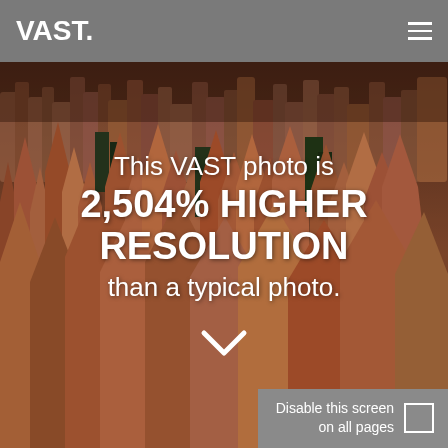VAST.
[Figure (photo): Aerial landscape photo of Bryce Canyon hoodoo rock formations in warm reddish-orange tones with dark green trees]
This VAST photo is 2,504% HIGHER RESOLUTION than a typical photo.
Disable this screen on all pages